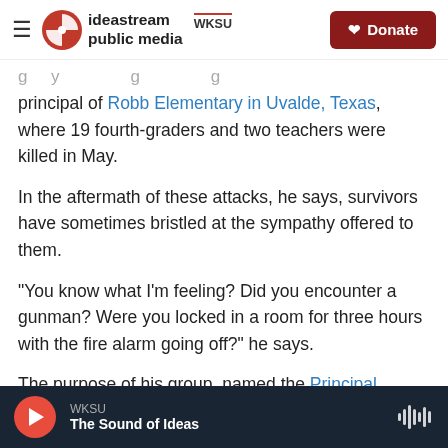ideastream public media | WKSU | Donate
principal of Robb Elementary in Uvalde, Texas, where 19 fourth-graders and two teachers were killed in May.
In the aftermath of these attacks, he says, survivors have sometimes bristled at the sympathy offered to them.
"You know what I'm feeling? Did you encounter a gunman? Were you locked in a room for three hours with the fire alarm going off?" he says.
The purpose of his group, named the Principal
WKSU | The Sound of Ideas